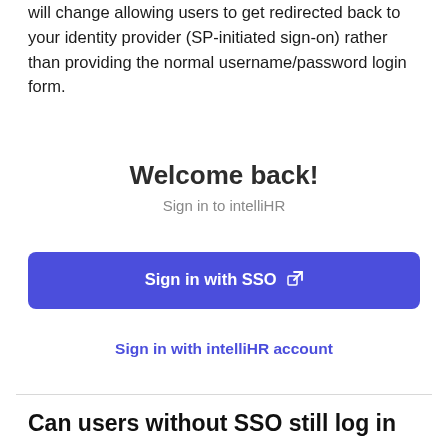will change allowing users to get redirected back to your identity provider (SP-initiated sign-on) rather than providing the normal username/password login form.
Welcome back!
Sign in to intelliHR
[Figure (screenshot): Blue button labeled 'Sign in with SSO' with an external link icon]
Sign in with intelliHR account
Can users without SSO still log in